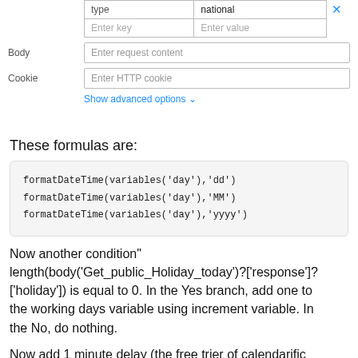[Figure (screenshot): UI form showing query parameters with 'type' key and 'national' value, plus Body and Cookie fields, and a 'Show advanced options' link]
These formulas are:
formatDateTime(variables('day'),'dd')
formatDateTime(variables('day'),'MM')
formatDateTime(variables('day'),'yyyy')
Now another condition"
length(body('Get_public_Holiday_today')?['response']?['holiday']) is equal to 0. In the Yes branch, add one to the working days variable using increment variable. In the No, do nothing.
Now add 1 minute delay (the free trier of calendarific only lets you do one API call per minute - there are